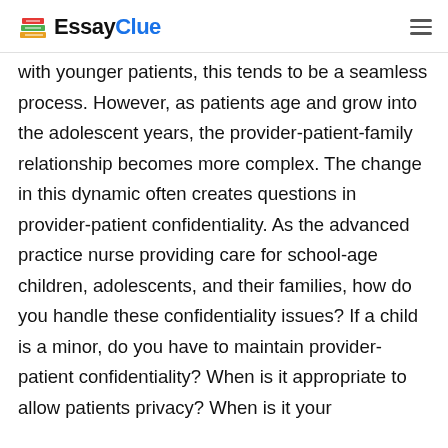EssayClue
with younger patients, this tends to be a seamless process. However, as patients age and grow into the adolescent years, the provider-patient-family relationship becomes more complex. The change in this dynamic often creates questions in provider-patient confidentiality. As the advanced practice nurse providing care for school-age children, adolescents, and their families, how do you handle these confidentiality issues? If a child is a minor, do you have to maintain provider-patient confidentiality? When is it appropriate to allow patients privacy? When is it your